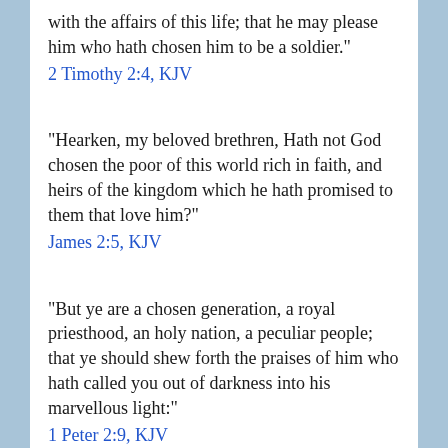with the affairs of this life; that he may please him who hath chosen him to be a soldier."
2 Timothy 2:4, KJV
"Hearken, my beloved brethren, Hath not God chosen the poor of this world rich in faith, and heirs of the kingdom which he hath promised to them that love him?"
James 2:5, KJV
"But ye are a chosen generation, a royal priesthood, an holy nation, a peculiar people; that ye should shew forth the praises of him who hath called you out of darkness into his marvellous light:"
1 Peter 2:9, KJV